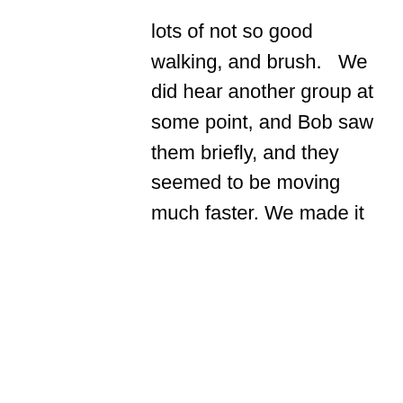lots of not so good walking, and brush.   We did hear another group at some point, and Bob saw them briefly, and they seemed to be moving much faster. We made it